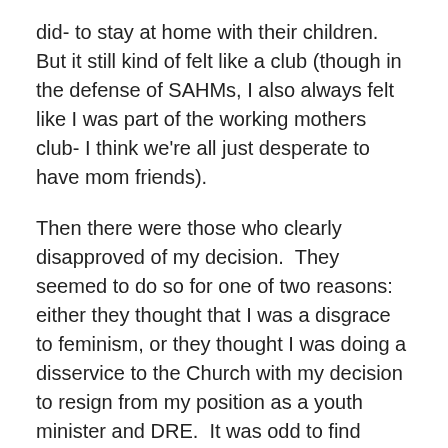did- to stay at home with their children.  But it still kind of felt like a club (though in the defense of SAHMs, I also always felt like I was part of the working mothers club- I think we're all just desperate to have mom friends).
Then there were those who clearly disapproved of my decision.  They seemed to do so for one of two reasons: either they thought that I was a disgrace to feminism, or they thought I was doing a disservice to the Church with my decision to resign from my position as a youth minister and DRE.  It was odd to find disapproval from two such opposite-minded camps: liberal feminists on the one hand and moderate and conservative Christians on the other, but on this matter at least, they seemed to agree.
In my day-to-day travels, I would occasionally have reason to explain what I did for work; while purchasing copious